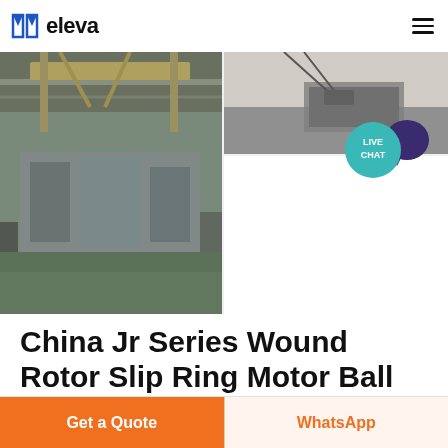eleva
[Figure (photo): Left side: Large industrial facility with heavy machinery, overhead cranes, and equipment on a factory floor with green-painted concrete. Top right: Overhead crane hook lifting metal equipment outdoors. Bottom right and most of right side is white space.]
China Jr Series Wound Rotor Slip Ring Motor Ball
Get a Quote
WhatsApp